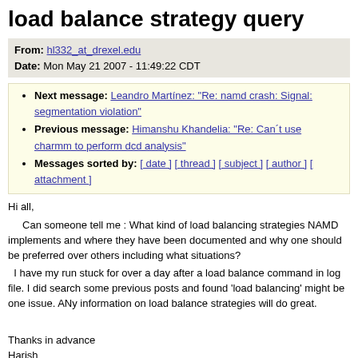load balance strategy query
From: hl332_at_drexel.edu
Date: Mon May 21 2007 - 11:49:22 CDT
Next message: Leandro Martínez: "Re: namd crash: Signal: segmentation violation"
Previous message: Himanshu Khandelia: "Re: Can´t use charmm to perform dcd analysis"
Messages sorted by: [ date ] [ thread ] [ subject ] [ author ] [ attachment ]
Hi all,
      Can someone tell me : What kind of load balancing strategies NAMD implements and where they have been documented and why one should be preferred over others including what situations?  I have my run stuck for over a day after a load balance command in log file. I did search some previous posts and found 'load balancing' might be one issue. ANy information on load balance strategies will do great.

Thanks in advance
Harish